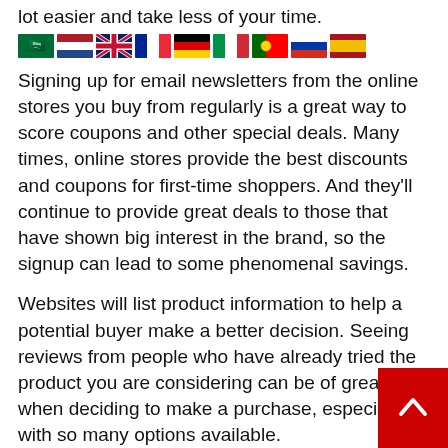lot easier and take less of your time.
[Figure (illustration): Row of country flag emojis: Saudi Arabia, Netherlands, United Kingdom, France, Germany, Italy, Portugal, Russia, Spain]
Signing up for email newsletters from the online stores you buy from regularly is a great way to score coupons and other special deals. Many times, online stores provide the best discounts and coupons for first-time shoppers. And they'll continue to provide great deals to those that have shown big interest in the brand, so the signup can lead to some phenomenal savings.
Websites will list product information to help a potential buyer make a better decision. Seeing reviews from people who have already tried the product you are considering can be of great help when deciding to make a purchase, especially with so many options available.
Remember to use any coupon codes that are offered to get special discounts. The codes are usually simple to find online. Look for free shipping and other discounts. The time spent to find it is worth the deal.